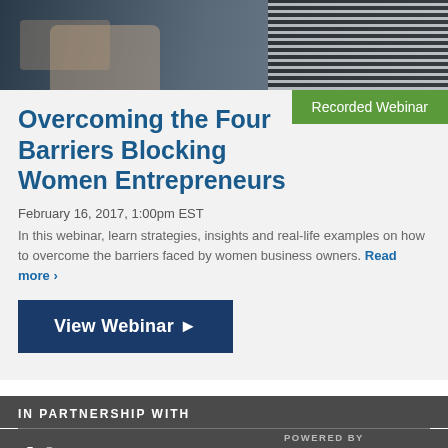[Figure (photo): Banner photo showing people using tablets/devices, with striped clothing visible on the right]
Recorded Webinar
Overcoming the Four Barriers Blocking Women Entrepreneurs
February 16, 2017, 1:00pm EST
In this webinar, learn strategies, insights and real-life examples on how to overcome the barriers faced by women business owners. Read more ›
View Webinar ▶
IN PARTNERSHIP WITH
[Figure (logo): Deluxe logo in white with red X]
POWERED BY
[Figure (logo): SBA U.S. Small Business Administration logo]